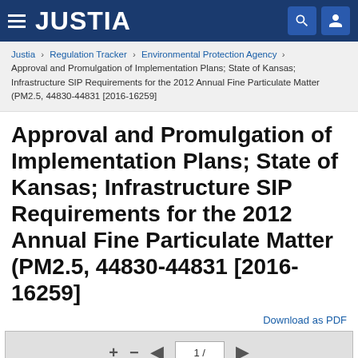JUSTIA
Justia › Regulation Tracker › Environmental Protection Agency › Approval and Promulgation of Implementation Plans; State of Kansas; Infrastructure SIP Requirements for the 2012 Annual Fine Particulate Matter (PM2.5, 44830-44831 [2016-16259]
Approval and Promulgation of Implementation Plans; State of Kansas; Infrastructure SIP Requirements for the 2012 Annual Fine Particulate Matter (PM2.5, 44830-44831 [2016-16259]
Download as PDF
[Figure (screenshot): PDF viewer toolbar with +, -, left arrow, page number input showing 1/, and right arrow button]